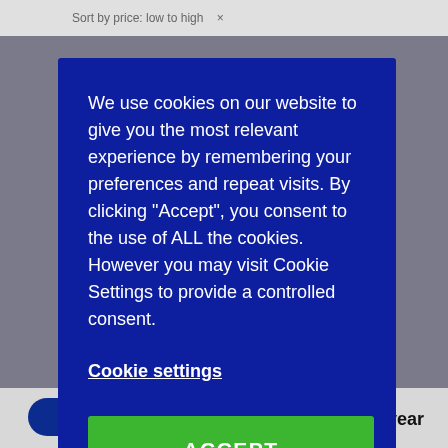Sort by price: low to high   ×
We use cookies on our website to give you the most relevant experience by remembering your preferences and repeat visits. By clicking "Accept", you consent to the use of ALL the cookies. However you may visit Cookie Settings to provide a controlled consent.
Cookie settings
ACCEPT
£8.00 / year